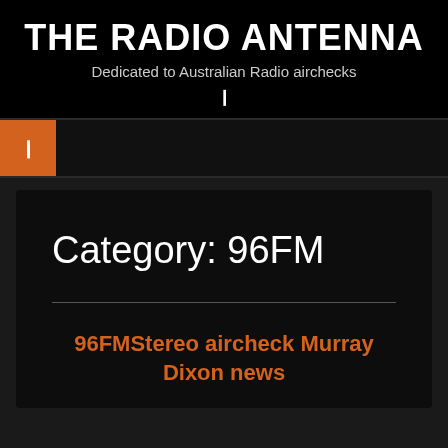THE RADIO ANTENNA
Dedicated to Australian Radio airchecks
Category: 96FM
96FMStereo aircheck Murray Dixon news